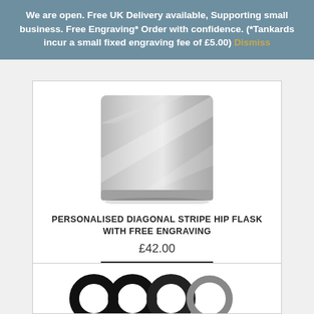We are open. Free UK Delivery available, Supporting small business. Free Engraving* Order with confidence. (*Tankards incur a small fixed engraving fee of £5.00) Dismiss
[Figure (photo): Bottom portion of a stainless steel diagonal stripe hip flask, shown in silver/grey tones]
PERSONALISED DIAGONAL STRIPE HIP FLASK WITH FREE ENGRAVING
£42.00
BUY IT NOW
DETAILS
SHARE
[Figure (photo): Partial view of a product featuring black circular/ring shapes, likely a keyring or similar accessory]